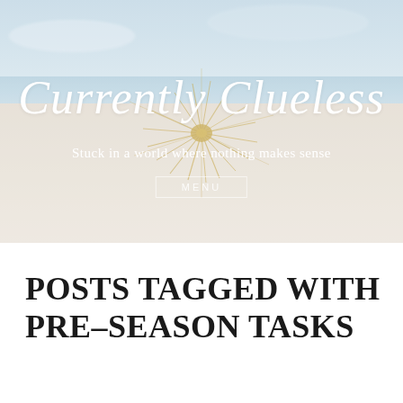[Figure (photo): Beach scene with a tumbleweed/dried grass plant sitting on white sand with a light blue sky in the background. Soft, muted, pastel tones.]
Currently Clueless
Stuck in a world where nothing makes sense
MENU
POSTS TAGGED WITH PRE-SEASON TASKS